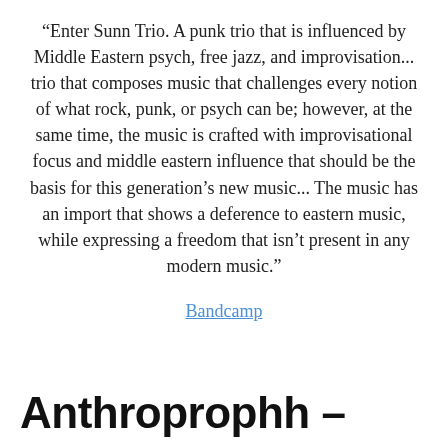“Enter Sunn Trio. A punk trio that is influenced by Middle Eastern psych, free jazz, and improvisation... trio that composes music that challenges every notion of what rock, punk, or psych can be; however, at the same time, the music is crafted with improvisational focus and middle eastern influence that should be the basis for this generation’s new music... The music has an import that shows a deference to eastern music, while expressing a freedom that isn’t present in any modern music.”
Bandcamp
Anthroprophh –